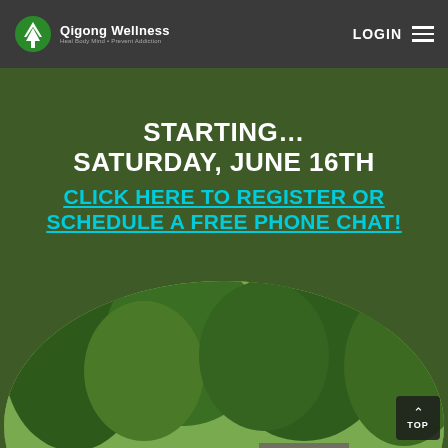Qigong Wellness
STARTING… SATURDAY, JUNE 16TH
CLICK HERE TO REGISTER OR SCHEDULE A FREE PHONE CHAT!
[Figure (photo): Outdoor group qigong class with people raising arms, surrounded by green trees, shown in an oval-cropped photo]